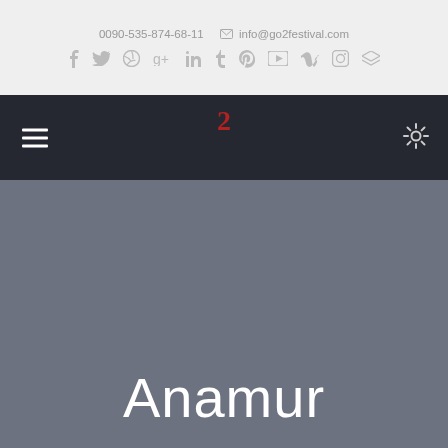0090-535-874-68-11  info@go2festival.com
[Figure (screenshot): Social media icons row: facebook, twitter, dribbble, google+, linkedin, tumblr, pinterest, youtube, vimeo, instagram, layers/stack]
[Figure (logo): Go2festival logo - stylized number 2 in dark red/crimson on dark navy navigation bar, with hamburger menu icon on left and settings gear icon on right]
Anamur